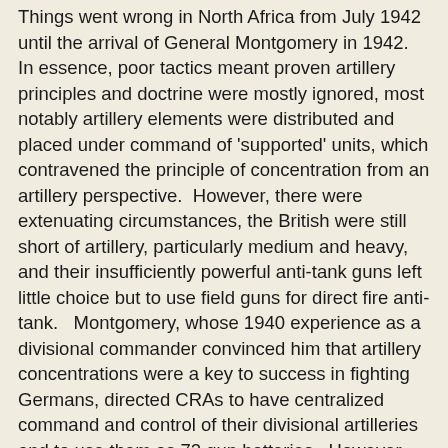Things went wrong in North Africa from July 1942 until the arrival of General Montgomery in 1942.  In essence, poor tactics meant proven artillery principles and doctrine were mostly ignored, most notably artillery elements were distributed and placed under command of 'supported' units, which contravened the principle of concentration from an artillery perspective.  However, there were extenuating circumstances, the British were still short of artillery, particularly medium and heavy, and their insufficiently powerful anti-tank guns left little choice but to use field guns for direct fire anti-tank.   Montgomery, whose 1940 experience as a divisional commander convinced him that artillery concentrations were a key to success in fighting Germans, directed CRAs to have centralized command and control of their divisional artilleries and to use them as 72 gun batteries.  However, this should not be taken too literally and efficient control procedures for concentrations were still some months away.  Observers still ordered fire appropriate to the target but the need for concentrations was recognised and became customary.
Predicted fire was insufficiently accurate and was exacerbated by longer ranges to targets than in WW1.  The main causes were stale meteor data, inadequate meteor data for longer range fire due to primitive methods used by RAE meteorological detachments, target location errors from